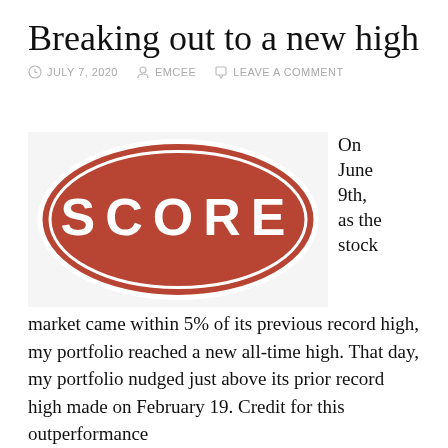Breaking out to a new high
JULY 7, 2020   EMCEE   LEAVE A COMMENT
[Figure (logo): SCORE logo — white text on a terracotta/rust-red oval background with a white border]
On June 9th, as the stock
market came within 5% of its previous record high, my portfolio reached a new all-time high. That day, my portfolio nudged just above its prior record high made on February 19. Credit for this outperformance